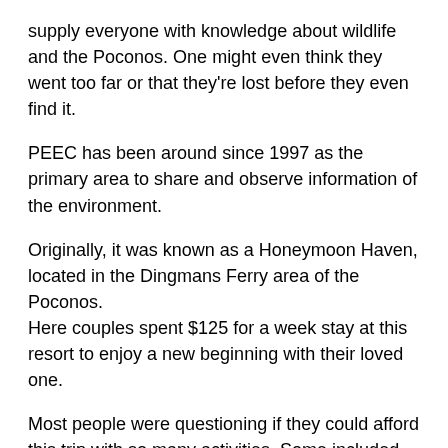supply everyone with knowledge about wildlife and the Poconos. One might even think they went too far or that they're lost before they even find it.
PEEC has been around since 1997 as the primary area to share and observe information of the environment.
Originally, it was known as a Honeymoon Haven, located in the Dingmans Ferry area of the Poconos.
Here couples spent $125 for a week stay at this resort to enjoy a new beginning with their loved one.
Most people were questioning if they could afford this trip with so many activities. Some included were horseback riding, a square dance, bowling and movies in the Rumpus Room.
According to an article by Don and Barb Killmeyer, “the resort catered to honeymooners only, and the staff did their best to provide a memorable week for all of us.”
As times changed, so did Honeymoon Haven. In 1972, it was